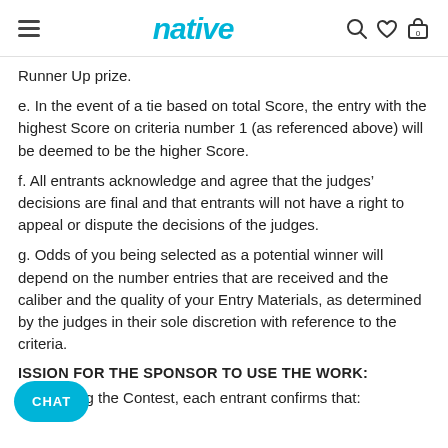native
Runner Up prize.
e. In the event of a tie based on total Score, the entry with the highest Score on criteria number 1 (as referenced above) will be deemed to be the higher Score.
f. All entrants acknowledge and agree that the judges’ decisions are final and that entrants will not have a right to appeal or dispute the decisions of the judges.
g. Odds of you being selected as a potential winner will depend on the number entries that are received and the caliber and the quality of your Entry Materials, as determined by the judges in their sole discretion with reference to the criteria.
ISSION FOR THE SPONSOR TO USE THE WORK:
By entering the Contest, each entrant confirms that: